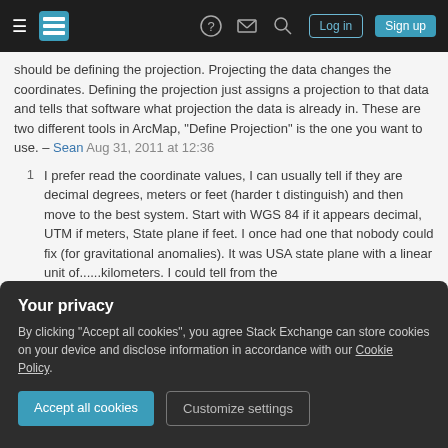Stack Exchange navigation bar with Log in and Sign up buttons
should be defining the projection. Projecting the data changes the coordinates. Defining the projection just assigns a projection to that data and tells that software what projection the data is already in. These are two different tools in ArcMap, "Define Projection" is the one you want to use. – Sean Aug 31, 2011 at 12:36
1  I prefer read the coordinate values, I can usually tell if they are decimal degrees, meters or feet (harder t distinguish) and then move to the best system. Start with WGS 84 if it appears decimal, UTM if meters, State plane if feet. I once had one that nobody could fix (for gravitational anomalies). It was USA state plane with a linear unit of......kilometers. I could tell from the
Your privacy
By clicking "Accept all cookies", you agree Stack Exchange can store cookies on your device and disclose information in accordance with our Cookie Policy.
Accept all cookies   Customize settings
Copeland by adding an answer that uses their